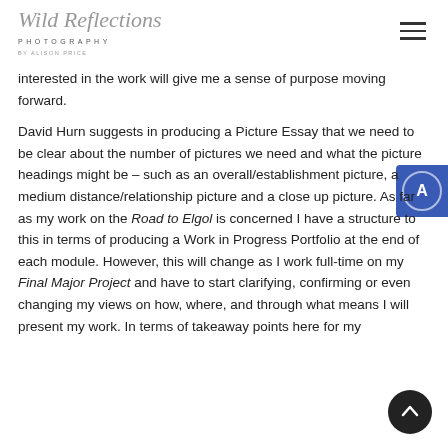Wild Reflections Photography by Alison Price
interested in the work will give me a sense of purpose moving forward.
David Hurn suggests in producing a Picture Essay that we need to be clear about the number of pictures we need and what the picture headings might be – such as an overall/establishment picture, a medium distance/relationship picture and a close up picture. As far as my work on the Road to Elgol is concerned I have a structure to this in terms of producing a Work in Progress Portfolio at the end of each module. However, this will change as I work full-time on my Final Major Project and have to start clarifying, confirming or even changing my views on how, where, and through what means I will present my work. In terms of takeaway points here for my